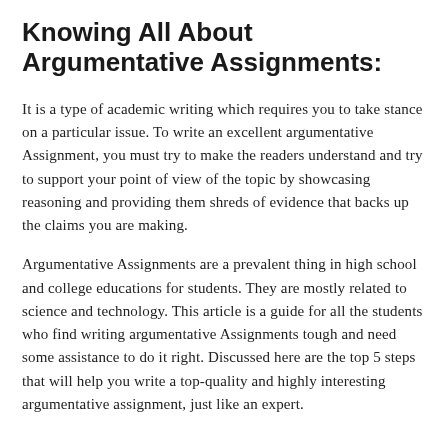Knowing All About Argumentative Assignments:
It is a type of academic writing which requires you to take stance on a particular issue. To write an excellent argumentative Assignment, you must try to make the readers understand and try to support your point of view of the topic by showcasing reasoning and providing them shreds of evidence that backs up the claims you are making.
Argumentative Assignments are a prevalent thing in high school and college educations for students. They are mostly related to science and technology. This article is a guide for all the students who find writing argumentative Assignments tough and need some assistance to do it right. Discussed here are the top 5 steps that will help you write a top-quality and highly interesting argumentative assignment, just like an expert.